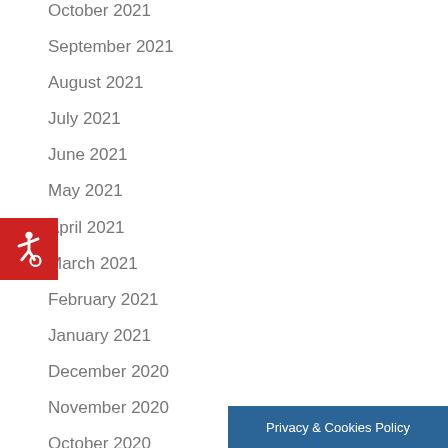October 2021
September 2021
August 2021
July 2021
June 2021
May 2021
April 2021
March 2021
February 2021
January 2021
December 2020
November 2020
October 2020
[Figure (other): Red accessibility button with wheelchair icon]
[Figure (other): Blue Privacy & Cookies Policy button]